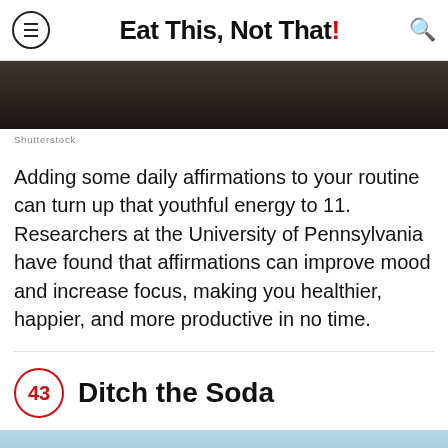Eat This, Not That!
[Figure (photo): Dark background image, appears to be a dark scene or surface]
Shutterstock
Adding some daily affirmations to your routine can turn up that youthful energy to 11. Researchers at the University of Pennsylvania have found that affirmations can improve mood and increase focus, making you healthier, happier, and more productive in no time.
43 Ditch the Soda
[Figure (photo): Bottom portion of an image, light blue tones, partially visible]